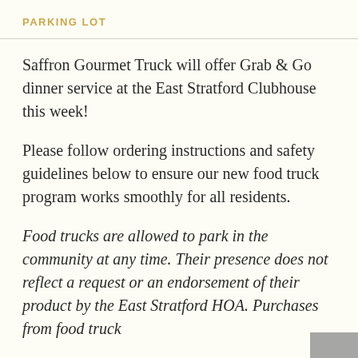PARKING LOT
Saffron Gourmet Truck will offer Grab & Go dinner service at the East Stratford Clubhouse this week!
Please follow ordering instructions and safety guidelines below to ensure our new food truck program works smoothly for all residents.
Food trucks are allowed to park in the community at any time. Their presence does not reflect a request or an endorsement of their product by the East Stratford HOA. Purchases from food truck